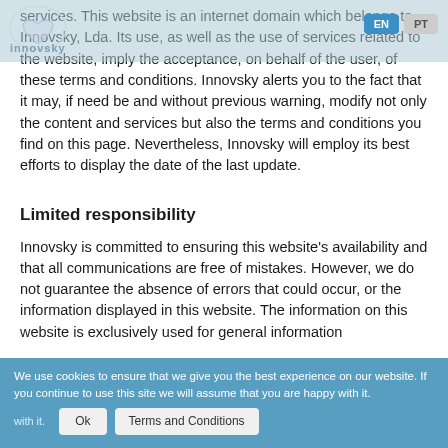Innovsky, Lda website header with logo, EN and PT language buttons
services. This website is an internet domain which belongs to Innovsky, Lda. Its use, as well as the use of services related to the website, imply the acceptance, on behalf of the user, of these terms and conditions. Innovsky alerts you to the fact that it may, if need be and without previous warning, modify not only the content and services but also the terms and conditions you find on this page. Nevertheless, Innovsky will employ its best efforts to display the date of the last update.
Limited responsibility
Innovsky is committed to ensuring this website's availability and that all communications are free of mistakes. However, we do not guarantee the absence of errors that could occur, or the information displayed in this website. The information on this website is exclusively used for general information
We use cookies to ensure that we give you the best experience on our website. If you continue to use this site we will assume that you are happy with it.